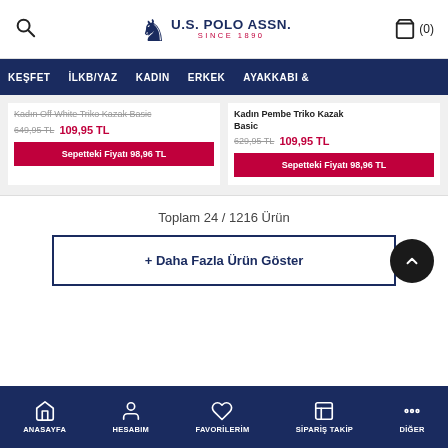U.S. POLO ASSN. SINCE 1890 | Search | Cart (0)
KEŞFET  İLKB/YAZ  KADIN  ERKEK  AYAKKABI &
Kadın Off White Triko Kazak Basic
649,95 TL  109,95 TL
Sepetteki Fiyatı 98,96 TL
Kadın Pembe Triko Kazak Basic
629,95 TL  109,95 TL
Sepetteki Fiyatı 98,96 TL
Toplam 24 / 1216 Ürün
+ Daha Fazla Ürün Göster
ANASAYFA  HESABIM  FAVORİLERİM  SİPARİŞ TAKİP  DİĞER